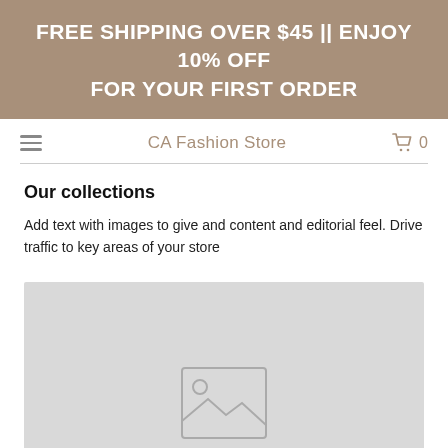FREE SHIPPING OVER $45 || ENJOY 10% OFF FOR YOUR FIRST ORDER
CA Fashion Store  0
Our collections
Add text with images to give and content and editorial feel. Drive traffic to key areas of your store
[Figure (illustration): Gray placeholder image box with a landscape/photo icon (rectangle with circle and mountain lines) centered near the bottom]